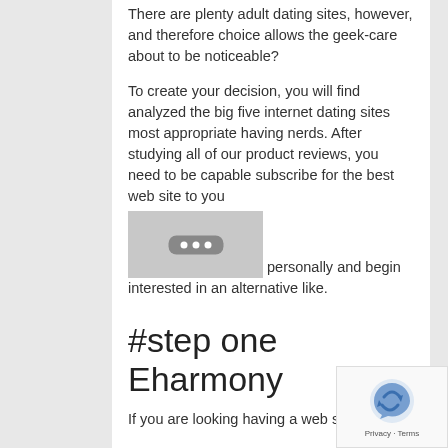There are plenty adult dating sites, however, and therefore choice allows the geek-care about to be noticeable?
To create your decision, you will find analyzed the big five internet dating sites most appropriate having nerds. After studying all of our product reviews, you need to be capable subscribe for the best web site to you personally and begin interested in an alternative like.
[Figure (photo): Placeholder image with three white dots on a dark rounded rectangle, grey background]
#step one Eharmony
If you are looking having a web site that